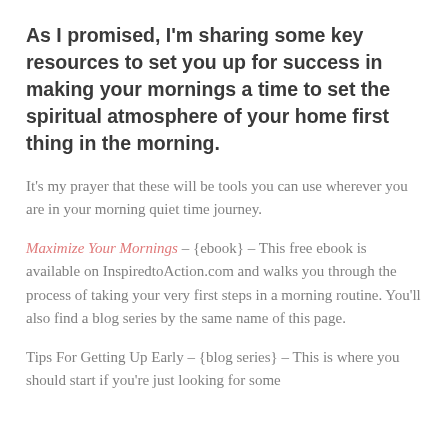As I promised, I'm sharing some key resources to set you up for success in making your mornings a time to set the spiritual atmosphere of your home first thing in the morning.
It's my prayer that these will be tools you can use wherever you are in your morning quiet time journey.
Maximize Your Mornings – {ebook} – This free ebook is available on InspiredtoAction.com and walks you through the process of taking your very first steps in a morning routine. You'll also find a blog series by the same name of this page.
Tips For Getting Up Early – {blog series} – This is where you should start if you're just looking for some